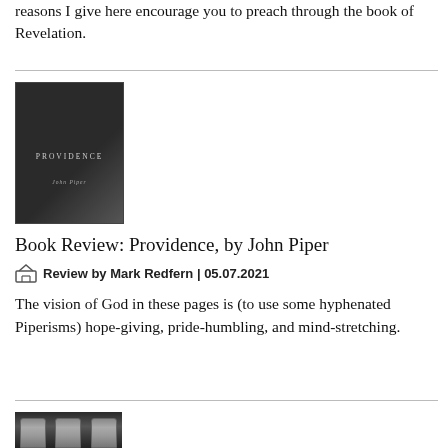reasons I give here encourage you to preach through the book of Revelation.
[Figure (photo): Book cover of 'Providence' by John Piper — dark/black cover with title in small caps and author name below]
Book Review: Providence, by John Piper
Review by Mark Redfern | 05.07.2021
The vision of God in these pages is (to use some hyphenated Piperisms) hope-giving, pride-humbling, and mind-stretching.
[Figure (photo): Partial image of stone tablets at the bottom of the page]